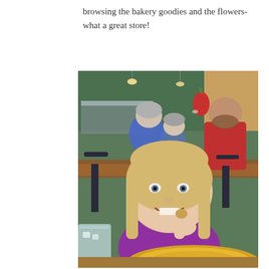browsing the bakery goodies and the flowers- what a great store!
[Figure (photo): A young girl with blonde hair wearing a purple shirt, smiling and eating something at a restaurant table. A yellow plate and a glass of water are visible in the foreground. In the background, an older woman in a blue sweater and a man in a red shirt are seated at tables. The restaurant interior has green walls, pendant lights, and a decorative fruit mural.]